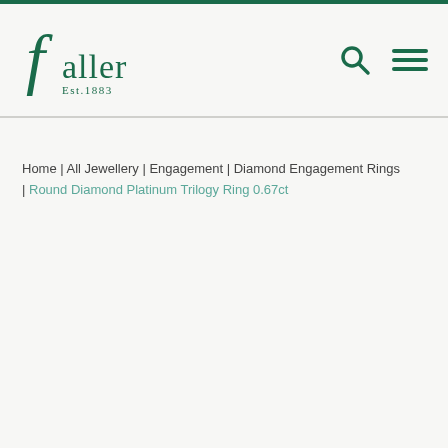[Figure (logo): Faller jewellery logo with stylized 'f' and text 'faller Est.1883' in dark green]
Home | All Jewellery | Engagement | Diamond Engagement Rings | Round Diamond Platinum Trilogy Ring 0.67ct